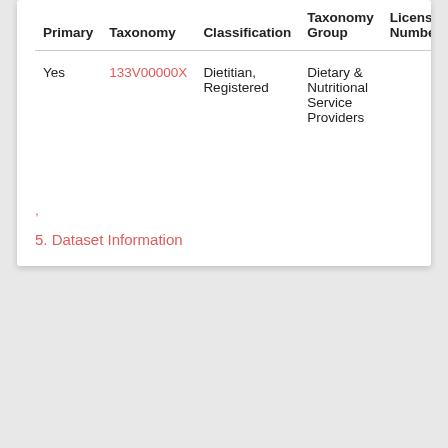| Primary | Taxonomy | Classification | Taxonomy Group | License Number |
| --- | --- | --- | --- | --- |
| Yes | 133V00000X | Dietitian, Registered | Dietary & Nutritional Service Providers |  |
5. Dataset Information